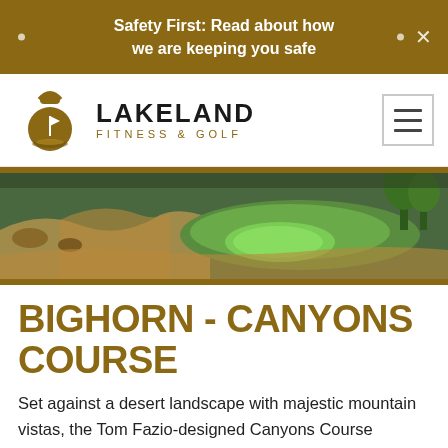Safety First: Read about how we are keeping you safe
[Figure (logo): Lakeland Fitness & Golf logo with kettlebell/golf flag icon]
[Figure (photo): Aerial view of a desert golf course with green fairways and sandy terrain]
BIGHORN - CANYONS COURSE
Set against a desert landscape with majestic mountain vistas, the Tom Fazio-designed Canyons Course extends